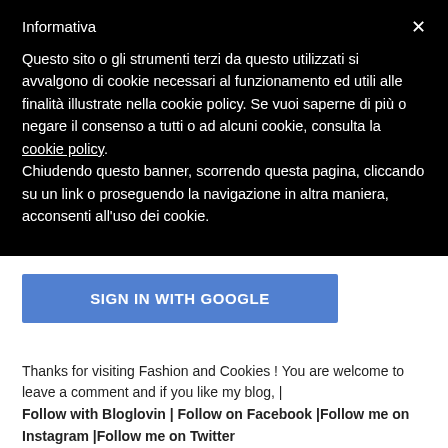Informativa
Questo sito o gli strumenti terzi da questo utilizzati si avvalgono di cookie necessari al funzionamento ed utili alle finalità illustrate nella cookie policy. Se vuoi saperne di più o negare il consenso a tutti o ad alcuni cookie, consulta la cookie policy. Chiudendo questo banner, scorrendo questa pagina, cliccando su un link o proseguendo la navigazione in altra maniera, acconsenti all'uso dei cookie.
SIGN IN WITH GOOGLE
Thanks for visiting Fashion and Cookies ! You are welcome to leave a comment and if you like my blog, | Follow with Bloglovin | Follow on Facebook |Follow me on Instagram |Follow me on Twitter